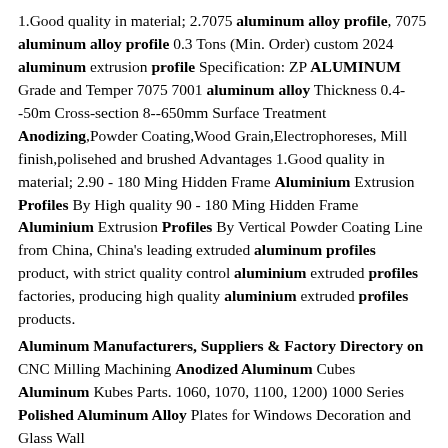1.Good quality in material; 2.7075 aluminum alloy profile, 7075 aluminum alloy profile 0.3 Tons (Min. Order) custom 2024 aluminum extrusion profile Specification: ZP ALUMINUM Grade and Temper 7075 7001 aluminum alloy Thickness 0.4--50m Cross-section 8--650mm Surface Treatment Anodizing,Powder Coating,Wood Grain,Electrophoreses, Mill finish,polisehed and brushed Advantages 1.Good quality in material; 2.90 - 180 Ming Hidden Frame Aluminium Extrusion Profiles By High quality 90 - 180 Ming Hidden Frame Aluminium Extrusion Profiles By Vertical Powder Coating Line from China, China's leading extruded aluminum profiles product, with strict quality control aluminium extruded profiles factories, producing high quality aluminium extruded profiles products.
Aluminum Manufacturers, Suppliers & Factory Directory on CNC Milling Machining Anodized Aluminum Cubes Aluminum Kubes Parts. 1060, 1070, 1100, 1200) 1000 Series Polished Aluminum Alloy Plates for Windows Decoration and Glass Wall